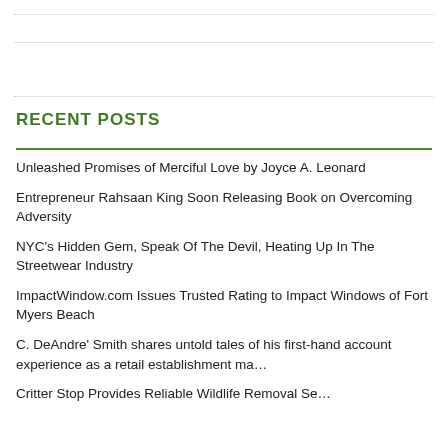RECENT POSTS
Unleashed Promises of Merciful Love by Joyce A. Leonard
Entrepreneur Rahsaan King Soon Releasing Book on Overcoming Adversity
NYC's Hidden Gem, Speak Of The Devil, Heating Up In The Streetwear Industry
ImpactWindow.com Issues Trusted Rating to Impact Windows of Fort Myers Beach
C. DeAndre' Smith shares untold tales of his first-hand account experience as a retail establishment ma…
Critter Stop Provides Reliable Wildlife Removal Se…